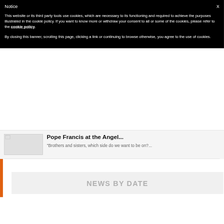Notice
This website or its third party tools use cookies, which are necessary to its functioning and required to achieve the purposes illustrated in the cookie policy. If you want to know more or withdraw your consent to all or some of the cookies, please refer to the cookie policy.
By closing this banner, scrolling this page, clicking a link or continuing to browse otherwise, you agree to the use of cookies.
Pope Francis at the Angel...
"Brothers and sisters, which side do we want to be on?...
NEWS BY DATE